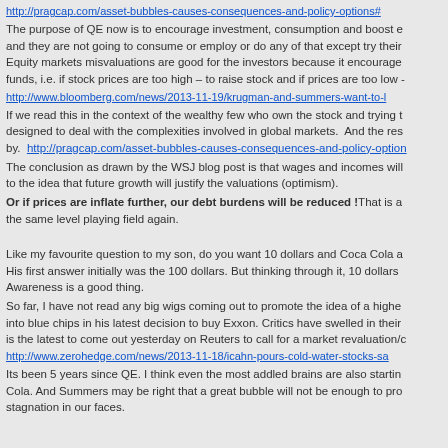http://pragcap.com/asset-bubbles-causes-consequences-and-policy-options#...
The purpose of QE now is to encourage investment, consumption and boost e and they are not going to consume or employ or do any of that except try their Equity markets misvaluations are good for the investors because it encourage funds, i.e. if stock prices are too high – to raise stock and if prices are too low -
http://www.bloomberg.com/news/2013-11-19/krugman-and-summers-want-to-l
If we read this in the context of the wealthy few who own the stock and trying t designed to deal with the complexities involved in global markets.  And the res by.  http://pragcap.com/asset-bubbles-causes-consequences-and-policy-option
The conclusion as drawn by the WSJ blog post is that wages and incomes will to the idea that future growth will justify the valuations (optimism).
Or if prices are inflate further, our debt burdens will be reduced !That is a the same level playing field again.
Like my favourite question to my son, do you want 10 dollars and Coca Cola a His first answer initially was the 100 dollars. But thinking through it, 10 dollars Awareness is a good thing.
So far, I have not read any big wigs coming out to promote the idea of a highe into blue chips in his latest decision to buy Exxon. Critics have swelled in their is the latest to come out yesterday on Reuters to call for a market revaluation/c
http://www.zerohedge.com/news/2013-11-18/icahn-pours-cold-water-stocks-sa
Its been 5 years since QE. I think even the most addled brains are also startin Cola. And Summers may be right that a great bubble will not be enough to pro stagnation in our faces.